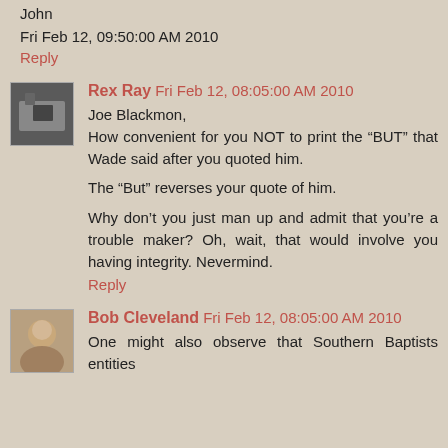John
Fri Feb 12, 09:50:00 AM 2010
Reply
Rex Ray  Fri Feb 12, 08:05:00 AM 2010
Joe Blackmon,
How convenient for you NOT to print the “BUT” that Wade said after you quoted him.

The “But” reverses your quote of him.

Why don’t you just man up and admit that you’re a trouble maker? Oh, wait, that would involve you having integrity. Nevermind.
Reply
Bob Cleveland  Fri Feb 12, 08:05:00 AM 2010
One might also observe that Southern Baptists entities